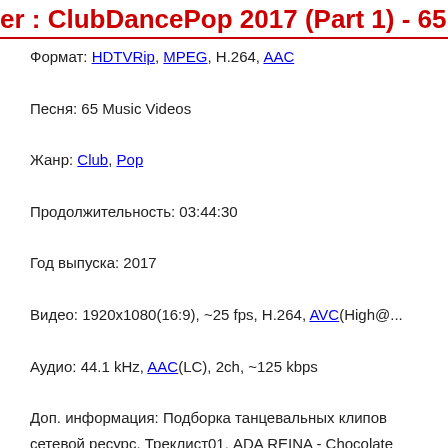er : ClubDancePop 2017 (Part 1) - 65 Music Vide...
Формат: HDTVRip, MPEG, H.264, AAC
Песня: 65 Music Videos
Жанр: Club, Pop
Продолжительность: 03:44:30
Год выпуска: 2017
Видео: 1920x1080(16:9), ~25 fps, H.264, AVC(High@...
Аудио: 44.1 kHz, AAC(LC), 2ch, ~125 kbps
Доп. информация: Подборка танцевальных клипов сетевой ресурс. Треклист01. ADA REINA - Chocolate LIVES.mp4 03. Alex Del Amo - I've Got You (Paparap... 05. ANTONIA - Dor de Tine.mp4 06. Armin van Buu ...
льное видео / Сборники